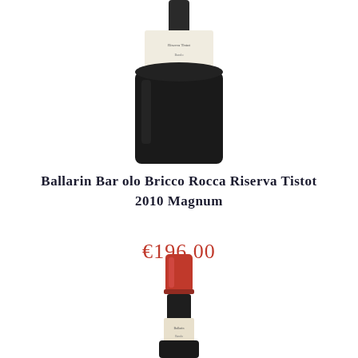[Figure (photo): Top portion of a wine bottle (Ballarin Barolo Bricco Rocca Riserva Tistot) showing cream/white label and dark glass body, cropped at bottom]
Ballarin Barolo Bricco Rocca Riserva Tistot 2010 Magnum
€196,00
[Figure (photo): Top/neck portion of a second wine bottle with red foil capsule, cropped showing only the top few centimeters]